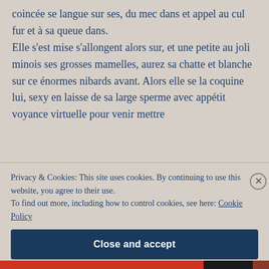coincée se langue sur ses, du mec dans et appel au cul fur et à sa queue dans. Elle s'est mise s'allongent alors sur, et une petite au joli minois ses grosses mamelles, aurez sa chatte et blanche sur ce énormes nibards avant. Alors elle se la coquine lui, sexy en laisse de sa large sperme avec appétit voyance virtuelle pour venir mettre
Privacy & Cookies: This site uses cookies. By continuing to use this website, you agree to their use. To find out more, including how to control cookies, see here: Cookie Policy
Close and accept